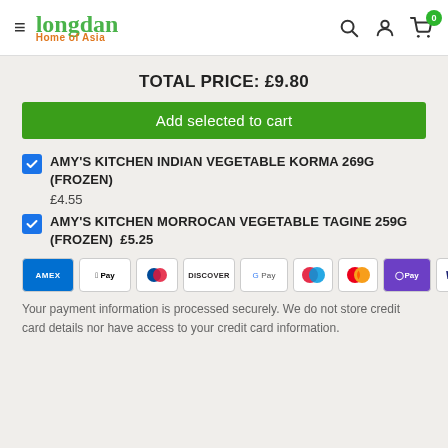Longdan Home of Asia
TOTAL PRICE: £9.80
Add selected to cart
AMY'S KITCHEN INDIAN VEGETABLE KORMA 269G (FROZEN) £4.55
AMY'S KITCHEN MORROCAN VEGETABLE TAGINE 259G (FROZEN) £5.25
[Figure (other): Payment method icons: AMEX, Apple Pay, Diners Club, Discover, Google Pay, Maestro, Mastercard, OPay, Visa]
Your payment information is processed securely. We do not store credit card details nor have access to your credit card information.